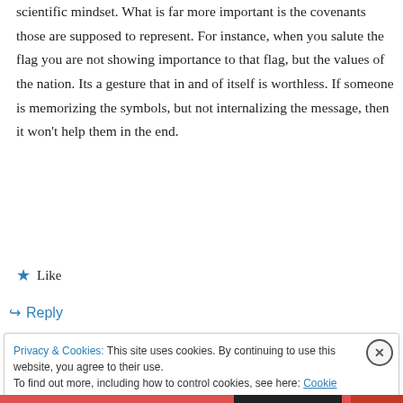scientific mindset. What is far more important is the covenants those are supposed to represent. For instance, when you salute the flag you are not showing importance to that flag, but the values of the nation. Its a gesture that in and of itself is worthless. If someone is memorizing the symbols, but not internalizing the message, then it won't help them in the end.
★ Like
↪ Reply
Privacy & Cookies: This site uses cookies. By continuing to use this website, you agree to their use.
To find out more, including how to control cookies, see here: Cookie Policy
Close and accept